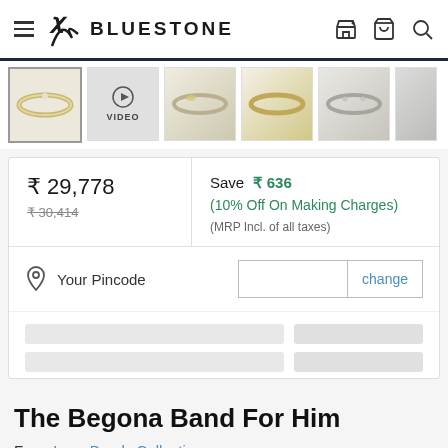BLUESTONE
[Figure (screenshot): Row of jewelry ring thumbnail images including a video thumbnail]
₹ 29,778
₹ 30,414
Save ₹ 636
(10% Off On Making Charges)
(MRP Incl. of all taxes)
Your Pincode
change
The Begona Band For Him
From Love Bands Collection